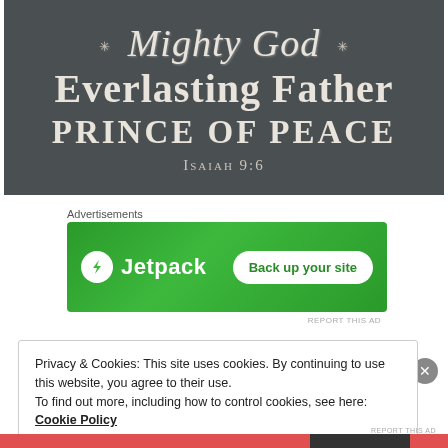[Figure (illustration): Chalkboard-style decorative image with white text on dark gray background. Cursive text 'Mighty God' at top with starburst decorations, then 'Everlasting Father' in large serif bold, then 'PRINCE OF PEACE' in large caps serif bold, then 'Isaiah 9:6' in small caps beneath.]
Advertisements
[Figure (screenshot): Green advertisement banner for Jetpack plugin with bolt icon, 'Jetpack' text, and 'Back up your site' white button on right.]
REPORT THIS AD
Privacy & Cookies: This site uses cookies. By continuing to use this website, you agree to their use.
To find out more, including how to control cookies, see here:
Cookie Policy
Close and accept